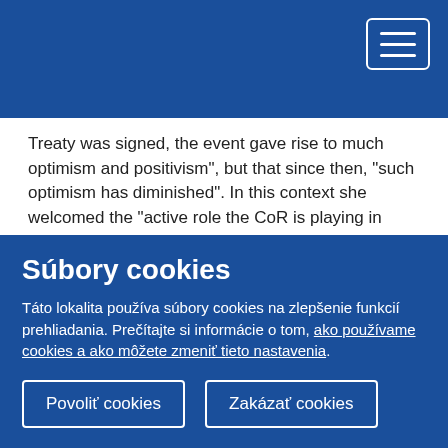Treaty was signed, the event gave rise to much optimism and positivism", but that since then, “such optimism has diminished". In this context she welcomed the “active role the CoR is playing in encouraging debates on the future of Europe".
Event agenda
Flickr photo gallery
Follow the debate on Twitter using #MeAandEU , #YoFest , #eulocal
Notes to the editors
Súbory cookies
Táto lokalita používa súbory cookies na zlepšenie funkcií prehliadania. Prečítajte si informácie o tom, ako používame cookies a ako môžete zmeniť tieto nastavenia.
Povoliť cookies
Zakázať cookies